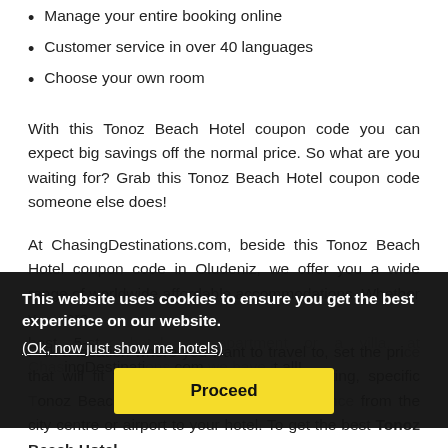Manage your entire booking online
Customer service in over 40 languages
Choose your own room
With this Tonoz Beach Hotel coupon code you can expect big savings off the normal price. So what are you waiting for? Grab this Tonoz Beach Hotel coupon code someone else does!
At ChasingDestinations.com, beside this Tonoz Beach Hotel coupon code in Oludeniz, we offer you a wide range of worldwide affordable accommodations. Whether you are looking for a budget hostel, a bed and breakfast, a 5-star hotel, an apartment or a villa, at ChasingDestinations.com we have it all!
Pick a location where you want to travel to, set the price that will fit your travelling budget, star rating, specific Tonoz Beach Hotel or even the total distance from the city centre or airport to your hotel. To get the best Tonoz Beach Hotel
This website uses cookies to ensure you get the best experience on our website.
(Ok, now just show me hotels)
Proceed